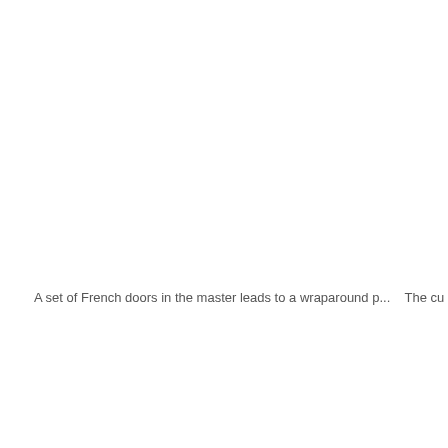A set of French doors in the master leads to a wraparound p...    The cu